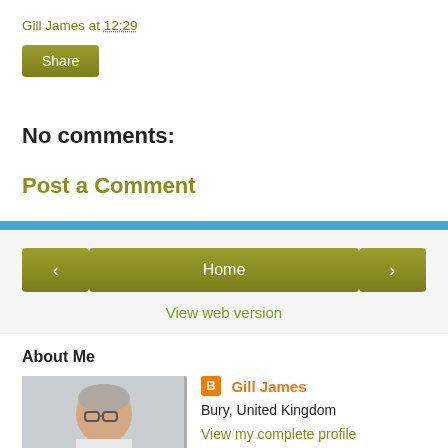Gill James at 12:29
Share
No comments:
Post a Comment
< Home >
View web version
About Me
[Figure (photo): Profile photo of Gill James, a woman with short grey hair wearing glasses and a white top]
Gill James
Bury, United Kingdom
View my complete profile
Powered by Blogger.